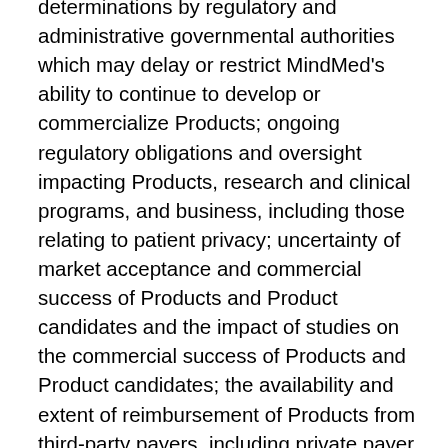determinations by regulatory and administrative governmental authorities which may delay or restrict MindMed's ability to continue to develop or commercialize Products; ongoing regulatory obligations and oversight impacting Products, research and clinical programs, and business, including those relating to patient privacy; uncertainty of market acceptance and commercial success of Products and Product candidates and the impact of studies on the commercial success of Products and Product candidates; the availability and extent of reimbursement of Products from third-party payers, including private payer healthcare and insurance programs, health maintenance organizations, pharmacy benefit management companies, and government programs such as Medicare and Medicaid; competing drugs and product candidates that may be superior to Products and Product candidates; the extent to which the results from the research and